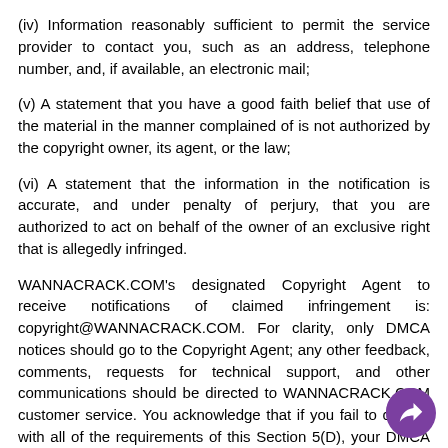(iv) Information reasonably sufficient to permit the service provider to contact you, such as an address, telephone number, and, if available, an electronic mail;
(v) A statement that you have a good faith belief that use of the material in the manner complained of is not authorized by the copyright owner, its agent, or the law;
(vi) A statement that the information in the notification is accurate, and under penalty of perjury, that you are authorized to act on behalf of the owner of an exclusive right that is allegedly infringed.
WANNACRACK.COM's designated Copyright Agent to receive notifications of claimed infringement is: copyright@WANNACRACK.COM. For clarity, only DMCA notices should go to the Copyright Agent; any other feedback, comments, requests for technical support, and other communications should be directed to WANNACRACK.COM customer service. You acknowledge that if you fail to comply with all of the requirements of this Section 5(D), your DMCA notice may not be valid.
E. You understand that when using the WANNACRACK.COM